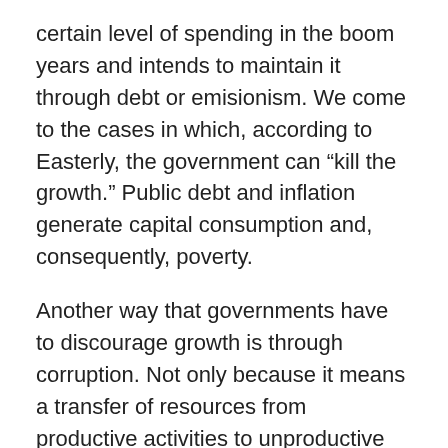certain level of spending in the boom years and intends to maintain it through debt or emisionism. We come to the cases in which, according to Easterly, the government can “kill the growth.” Public debt and inflation generate capital consumption and, consequently, poverty.
Another way that governments have to discourage growth is through corruption. Not only because it means a transfer of resources from productive activities to unproductive activities, but because it also means a bad signal for citizens. However, in cases of corruption, as noted above, wealth at least changes hands. There is